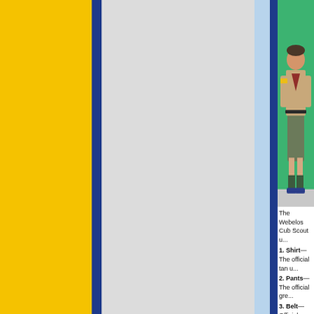[Figure (photo): Boy in Webelos Cub Scout uniform: tan shirt with patches, green cargo shorts, green knee-high socks, navy sneakers, neckerchief, standing hands on hips against green background]
The Webelos Cub Scout u...
1. Shirt—The official tan u...
2. Pants— The official gre...
3. Belt—Official navy-blue...
4. Socks—Official green s...
5. Hat—Official green hat w...
6. Neckerchief—Webelos...